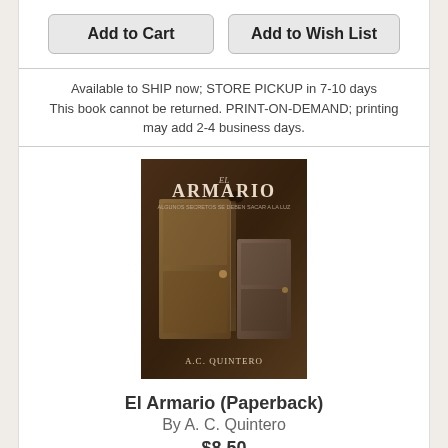Add to Cart | Add to Wish List
Available to SHIP now; STORE PICKUP in 7-10 days
This book cannot be returned. PRINT-ON-DEMAND; printing may add 2-4 business days.
[Figure (photo): Book cover for El Armario by A.C. Quintero showing a dark wardrobe/armario on a muted background]
El Armario (Paperback)
By A. C. Quintero
$8.50
Add to Cart | Add to Wish List
Available to SHIP now; STORE PICKUP in 7-10 days